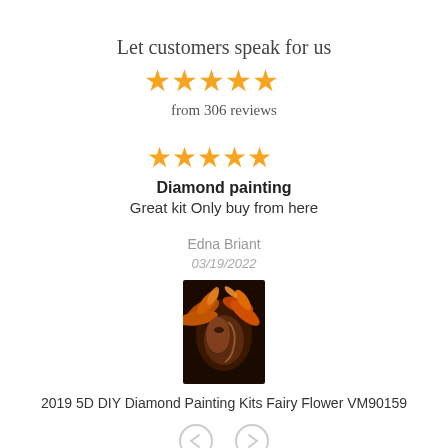Let customers speak for us
[Figure (other): 5 orange/gold stars rating]
from 306 reviews
[Figure (other): 5 orange/gold stars rating for review]
Diamond painting
Great kit Only buy from here
Edna Briant
03/19/2022
[Figure (photo): Product image: fairy with feathers and flowers portrait painting]
2019 5D DIY Diamond Painting Kits Fairy Flower VM90159
[Figure (other): Navigation arrows: left and right]